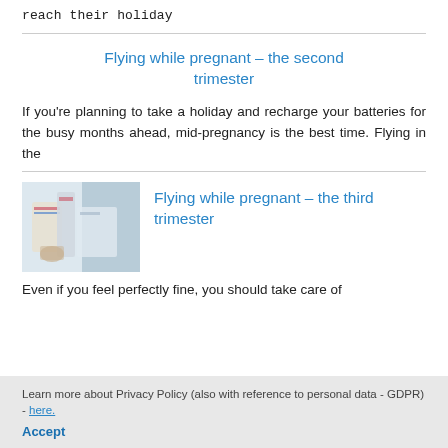reach their holiday
Flying while pregnant – the second trimester
If you're planning to take a holiday and recharge your batteries for the busy months ahead, mid-pregnancy is the best time. Flying in the
[Figure (photo): Photo of a pregnant woman near medical/airport equipment]
Flying while pregnant – the third trimester
Even if you feel perfectly fine, you should take care of
Learn more about Privacy Policy (also with reference to personal data - GDPR) - here.
Accept